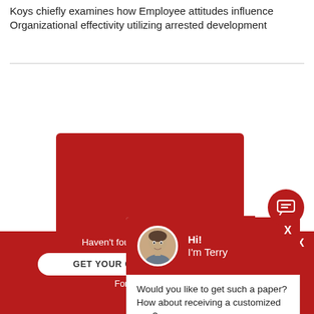Koys chiefly examines how Employee attitudes influence Organizational effectivity utilizing arrested development
[Figure (screenshot): Screenshot of a website showing a red promotional card with 'Free Essays' text, overlaid by a chat popup featuring a man named Terry asking 'Would you like to get such a paper? How about receiving a customized one?' with a 'Check it out' link and a close X button.]
Case Study Fu... Marketing Essa...
The term futon refers to ma... the Japanese. However, fu... usage in a big portion of the universe. Nipponese conti...
Haven't found the Essay You Want?
GET YOUR CUSTOM ESSAY SAMPLE
For Only $13.90/page